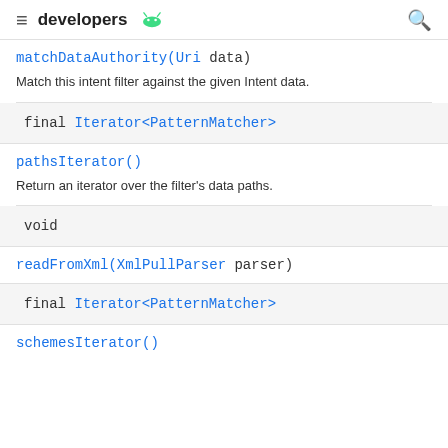developers
matchDataAuthority(Uri data)
Match this intent filter against the given Intent data.
final Iterator<PatternMatcher>
pathsIterator()
Return an iterator over the filter's data paths.
void
readFromXml(XmlPullParser parser)
final Iterator<PatternMatcher>
schemesIterator()